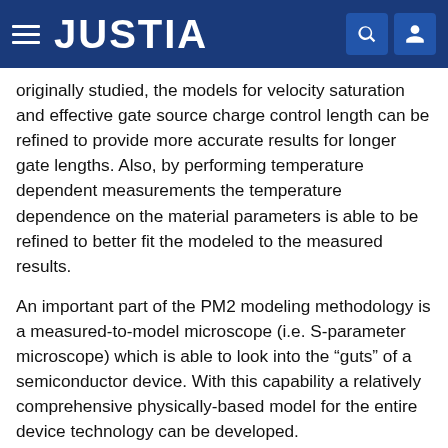JUSTIA
originally studied, the models for velocity saturation and effective gate source charge control length can be refined to provide more accurate results for longer gate lengths. Also, by performing temperature dependent measurements the temperature dependence on the material parameters is able to be refined to better fit the modeled to the measured results.
An important part of the PM2 modeling methodology is a measured-to-model microscope (i.e. S-parameter microscope) which is able to look into the “guts” of a semiconductor device. With this capability a relatively comprehensive physically-based model for the entire device technology can be developed.
The perturbation method is discussed below in connection with FIGS. 19-24. An important aspect of the